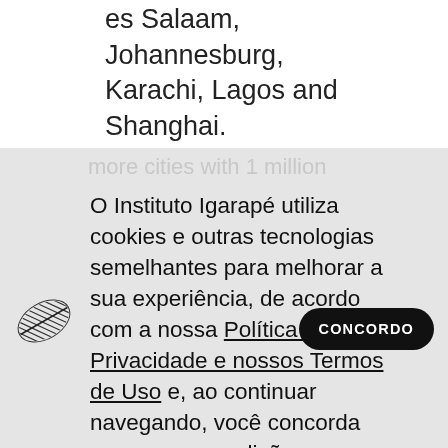es Salaam, Johannesburg, Karachi, Lagos and Shanghai. But there are another 56
O Instituto Igarapé utiliza cookies e outras tecnologias semelhantes para melhorar a sua experiência, de acordo com a nossa Política de Privacidade e nossos Termos de Uso e, ao continuar navegando, você concorda com essas condições.
[Figure (logo): Instituto Igarapé logo — a stylized leaf or feather made of parallel hatched lines, black and white]
CONCORDO